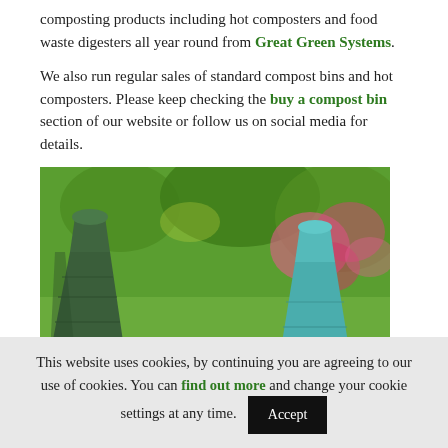composting products including hot composters and food waste digesters all year round from Great Green Systems.
We also run regular sales of standard compost bins and hot composters. Please keep checking the buy a compost bin section of our website or follow us on social media for details.
[Figure (photo): Photo of two green plastic compost bins in a garden setting with flowering plants in the background]
This website uses cookies, by continuing you are agreeing to our use of cookies. You can find out more and change your cookie settings at any time. Accept